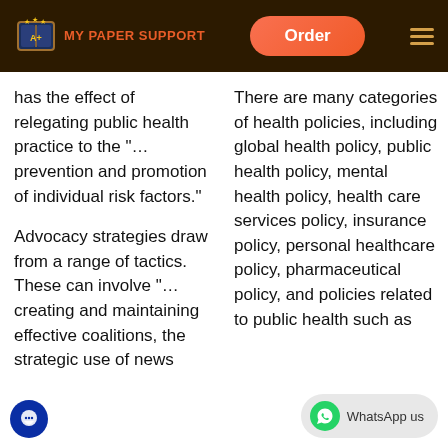MY PAPER SUPPORT | Order
has the effect of relegating public health practice to the "…prevention and promotion of individual risk factors."
Advocacy strategies draw from a range of tactics. These can involve "…creating and maintaining effective coalitions, the strategic use of news
There are many categories of health policies, including global health policy, public health policy, mental health policy, health care services policy, insurance policy, personal healthcare policy, pharmaceutical policy, and policies related to public health such as